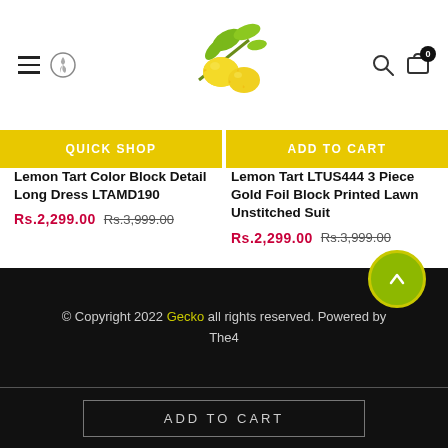Lemon Tart store header with hamburger menu, lemon logo, search icon, and cart (0)
QUICK SHOP | ADD TO CART
Lemon Tart Color Block Detail Long Dress LTAMD190
Rs.2,299.00  Rs.3,999.00
Lemon Tart LTUS444 3 Piece Gold Foil Block Printed Lawn Unstitched Suit
Rs.2,299.00  Rs.3,999.00
© Copyright 2022 Gecko all rights reserved. Powered by The4
ADD TO CART